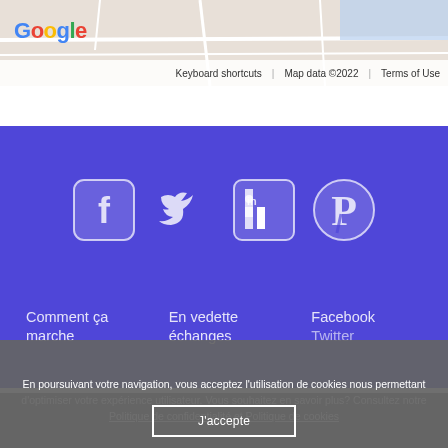[Figure (screenshot): Google Maps header with logo and map background, showing 'Keyboard shortcuts', 'Map data ©2022', 'Terms of Use' in footer bar]
[Figure (infographic): Social media icons on purple background: Facebook, Twitter, LinkedIn, Pinterest]
Comment ça marche
En vedette échanges
Facebook
Twitter
En poursuivant votre navigation, vous acceptez l'utilisation de cookies nous permettant d'optimiser votre expérience utilisateur. Vous souhaitez en savoir plus? Consultez notre Politique de confidentialité et Politique de cookies
J'accepte